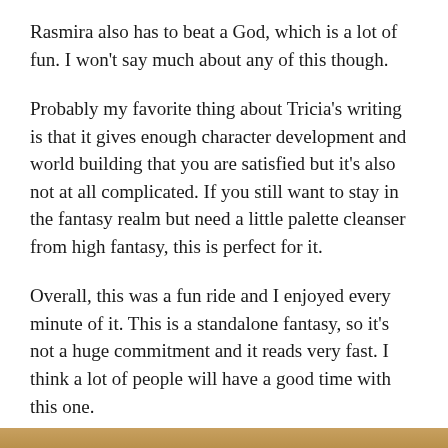Rasmira also has to beat a God, which is a lot of fun.  I won't say much about any of this though.
Probably my favorite thing about Tricia's writing is that it gives enough character development and world building that you are satisfied but it's also not at all complicated.  If you still want to stay in the fantasy realm but need a little palette cleanser  from high fantasy, this is perfect for it.
Overall, this was a fun ride and I enjoyed every minute of it.  This is a standalone fantasy, so it's not a huge commitment and it reads very fast.  I think a lot of people will have a good time with this one.
THANK YOU TO FEIWEL & FRIENDS FOR THE PHYSICAL ARC IN EXCHANGE FOR MY HONEST REVIEW.